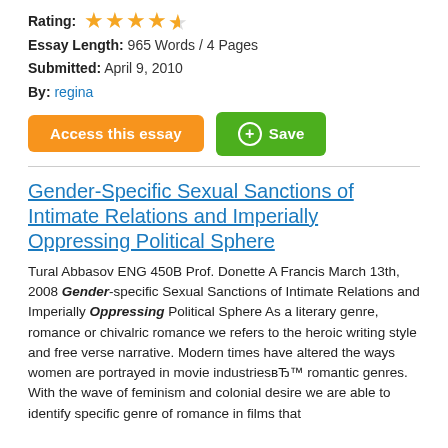Rating: ★★★★½
Essay Length: 965 Words / 4 Pages
Submitted: April 9, 2010
By: regina
Access this essay | + Save
Gender-Specific Sexual Sanctions of Intimate Relations and Imperially Oppressing Political Sphere
Tural Abbasov ENG 450B Prof. Donette A Francis March 13th, 2008 Gender-specific Sexual Sanctions of Intimate Relations and Imperially Oppressing Political Sphere As a literary genre, romance or chivalric romance we refers to the heroic writing style and free verse narrative. Modern times have altered the ways women are portrayed in movie industriesвЂ™ romantic genres. With the wave of feminism and colonial desire we are able to identify specific genre of romance in films that